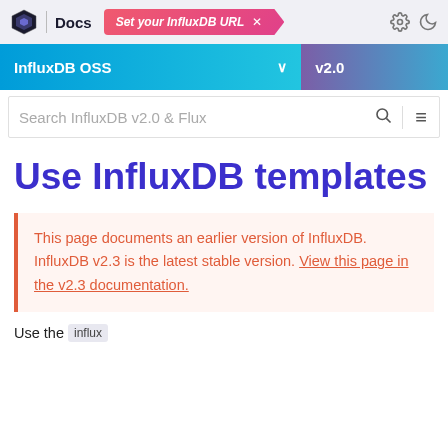Docs | Set your InfluxDB URL
Use InfluxDB templates
This page documents an earlier version of InfluxDB. InfluxDB v2.3 is the latest stable version. View this page in the v2.3 documentation.